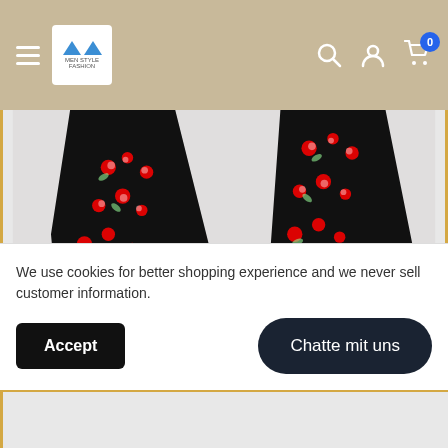[Figure (screenshot): E-commerce website navigation bar with hamburger menu, logo with two blue triangles, search icon, user icon, and cart icon with badge showing 0]
[Figure (photo): Close-up product photo of a black floral tie/ribbon with red roses pattern on a light gray background]
We use cookies for better shopping experience and we never sell customer information.
Accept
Chatte mit uns